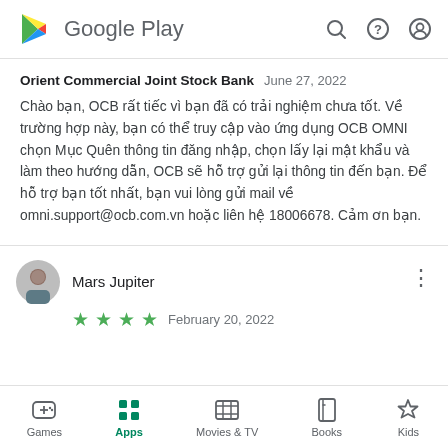Google Play
Orient Commercial Joint Stock Bank  June 27, 2022

Chào bạn, OCB rất tiếc vì bạn đã có trải nghiệm chưa tốt. Về trường hợp này, bạn có thể truy cập vào ứng dụng OCB OMNI chọn Mục Quên thông tin đăng nhập, chọn lấy lại mật khẩu và làm theo hướng dẫn, OCB sẽ hỗ trợ gửi lại thông tin đến bạn. Để hỗ trợ bạn tốt nhất, bạn vui lòng gửi mail về omni.support@ocb.com.vn hoặc liên hệ 18006678. Cảm ơn bạn.
Mars Jupiter
February 20, 2022
Games  Apps  Movies & TV  Books  Kids